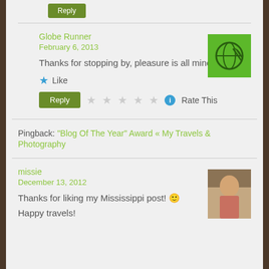Reply
Globe Runner
February 6, 2013
[Figure (logo): Green square avatar with globe and airplane icon]
Thanks for stopping by, pleasure is all mine
Like
Reply  Rate This
Pingback: "Blog Of The Year" Award « My Travels & Photography
missie
December 13, 2012
[Figure (photo): Profile photo of a person outdoors]
Thanks for liking my Mississippi post! 🙂 Happy travels!